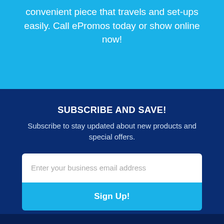convenient piece that travels and set-ups easily. Call ePromos today or show online now!
SUBSCRIBE AND SAVE!
Subscribe to stay updated about new products and special offers.
Enter your business email address
Sign Up!